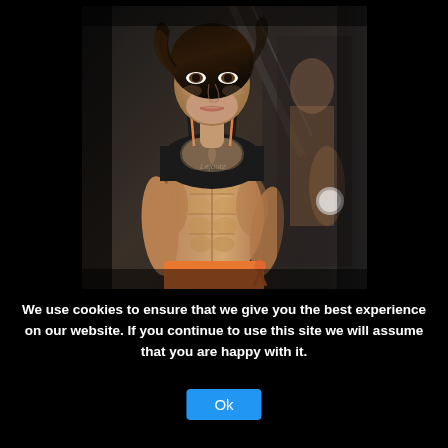[Figure (photo): A fit woman with dark hair wearing a black sports bra crop top and orange shorts, showing defined abdominal muscles, photographed in a gym setting with mirrors. She is looking directly at the camera with a serious expression.]
We use cookies to ensure that we give you the best experience on our website. If you continue to use this site we will assume that you are happy with it.
Ok